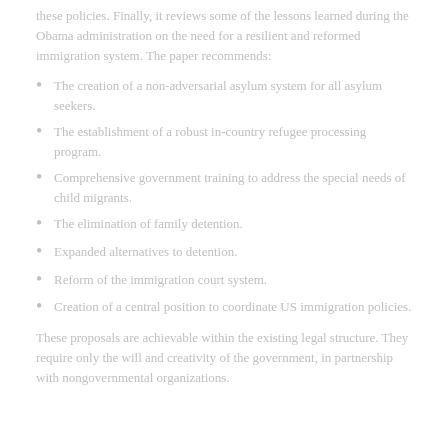these policies. Finally, it reviews some of the lessons learned during the Obama administration on the need for a resilient and reformed immigration system. The paper recommends:
The creation of a non-adversarial asylum system for all asylum seekers.
The establishment of a robust in-country refugee processing program.
Comprehensive government training to address the special needs of child migrants.
The elimination of family detention.
Expanded alternatives to detention.
Reform of the immigration court system.
Creation of a central position to coordinate US immigration policies.
These proposals are achievable within the existing legal structure. They require only the will and creativity of the government, in partnership with nongovernmental organizations.